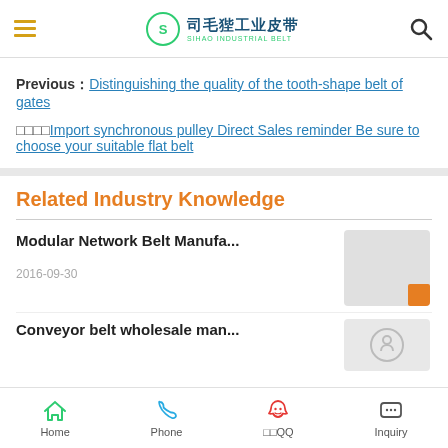司毛狴工业皮带 SIHAO INDUSTRIAL BELT
Previous：Distinguishing the quality of the tooth-shape belt of gates
下一篇：Import synchronous pulley Direct Sales reminder Be sure to choose your suitable flat belt
Related Industry Knowledge
Modular Network Belt Manufa...
2016-09-30
Conveyor belt wholesale man...
Home  Phone  腾讯QQ  Inquiry